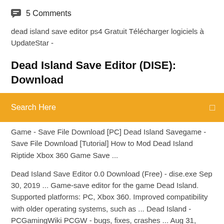5 Comments
dead island save editor ps4 Gratuit Télécharger logiciels à UpdateStar -
Dead Island Save Editor (DISE): Download
[Figure (other): Orange search bar with text 'Search Here' and a small icon on the right]
Game - Save File Download [PC] Dead Island Savegame - Save File Download [Tutorial] How to Mod Dead Island Riptide Xbox 360 Game Save ...
Dead Island Save Editor 0.0 Download (Free) - dise.exe Sep 30, 2019 ... Game-save editor for the game Dead Island. Supported platforms: PC, Xbox 360. Improved compatibility with older operating systems, such as ... Dead Island - PCGamingWiki PCGW - bugs, fixes, crashes ... Aug 31, 2019 ... The Dead Island Helper utility can be used to fix many bugs and tweak advanced